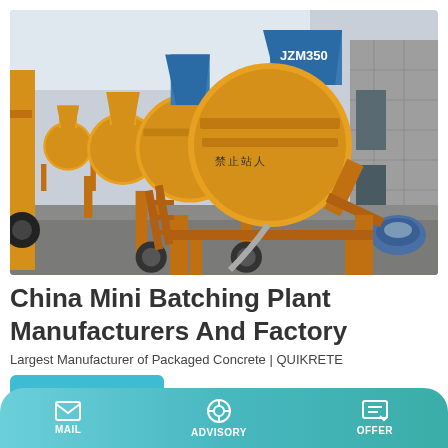[Figure (photo): Row of yellow JZM350 concrete mixer machines in a factory yard, with a concrete block wall on the right and blue hose coil on the ground.]
China Mini Batching Plant Manufacturers And Factory
Largest Manufacturer of Packaged Concrete | QUIKRETE
Learn More
MAIL   ADVISORY   OFFER